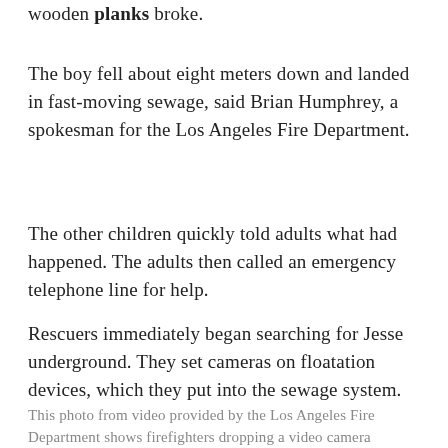wooden planks broke.
The boy fell about eight meters down and landed in fast-moving sewage, said Brian Humphrey, a spokesman for the Los Angeles Fire Department.
The other children quickly told adults what had happened. The adults then called an emergency telephone line for help.
Rescuers immediately began searching for Jesse underground. They set cameras on floatation devices, which they put into the sewage system.
This photo from video provided by the Los Angeles Fire Department shows firefighters dropping a video camera down